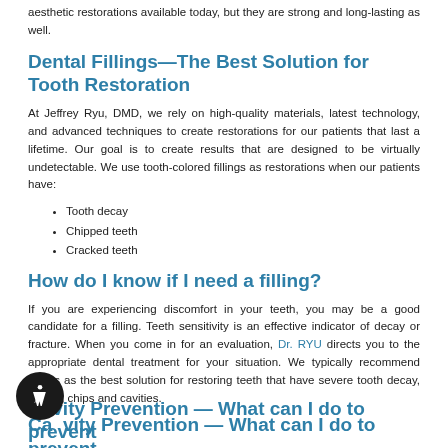aesthetic restorations available today, but they are strong and long-lasting as well.
Dental Fillings—The Best Solution for Tooth Restoration
At Jeffrey Ryu, DMD, we rely on high-quality materials, latest technology, and advanced techniques to create restorations for our patients that last a lifetime. Our goal is to create results that are designed to be virtually undetectable. We use tooth-colored fillings as restorations when our patients have:
Tooth decay
Chipped teeth
Cracked teeth
How do I know if I need a filling?
If you are experiencing discomfort in your teeth, you may be a good candidate for a filling. Teeth sensitivity is an effective indicator of decay or fracture. When you come in for an evaluation, Dr. RYU directs you to the appropriate dental treatment for your situation. We typically recommend fillings as the best solution for restoring teeth that have severe tooth decay, cracks, chips and cavities.
Cavity Prevention — What can I do to prevent them and from a filling?